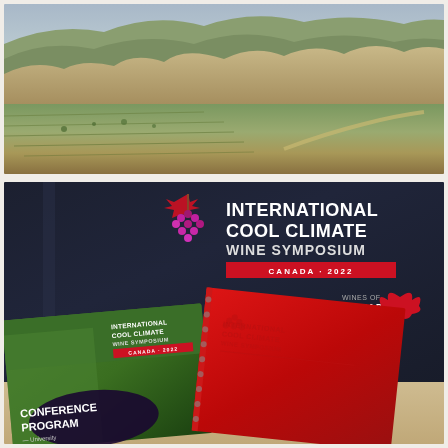[Figure (photo): Aerial or hillside landscape photo showing vineyard/agricultural terraces on rocky hillsides with green vegetation and a road visible]
[Figure (photo): Photo of International Cool Climate Wine Symposium Canada 2022 conference materials including a dark navy tote bag with event branding (Scott Labs Canada and Wines of Canada sponsors), a conference program booklet, and a red notebook, all laid on a table]